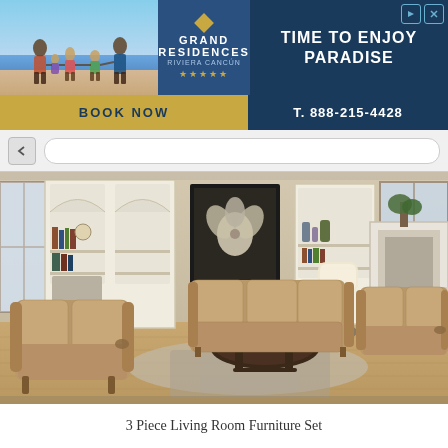[Figure (screenshot): Advertisement banner for Grand Residences with beach scene, 'TIME TO ENJOY PARADISE' tagline, BOOK NOW button, and phone number T. 888-215-4428]
[Figure (photo): Product photo of a 3 Piece Living Room Furniture Set showing brown/tan recliner chairs and sofa set arranged in a model living room with bookshelves, hardwood floors, and area rugs]
3 Piece Living Room Furniture Set